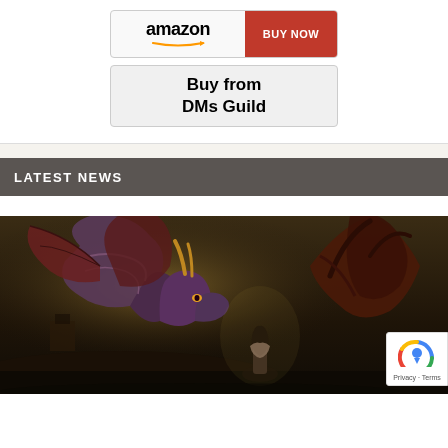[Figure (screenshot): Amazon button with 'amazon' wordmark and orange arrow, plus red 'BUY NOW' button on the right]
[Figure (screenshot): Button reading 'Buy from DMs Guild' in bold text on light gray background]
LATEST NEWS
[Figure (illustration): Fantasy illustration of a large dragon with a woman standing in front of it, in a dramatic landscape with trees and a building in the background]